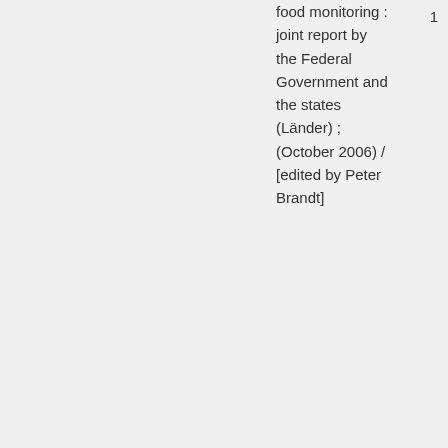food monitoring : joint report by the Federal Government and the states (Länder) ; (October 2006) / [edited by Peter Brandt]
1
Food handling -- Great Britain. : Food poisoning : listeria and listeriosis : together with the
1989